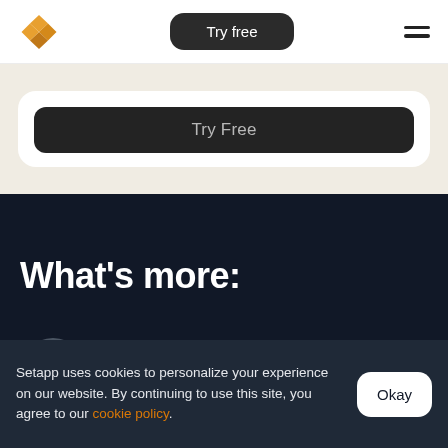Try free
[Figure (screenshot): White card with dark rounded button labeled 'Try Free' on a cream background]
What's more:
[Figure (illustration): Dark grey circular icon with a dollar/currency symbol, partially visible at bottom]
Setapp uses cookies to personalize your experience on our website. By continuing to use this site, you agree to our cookie policy.